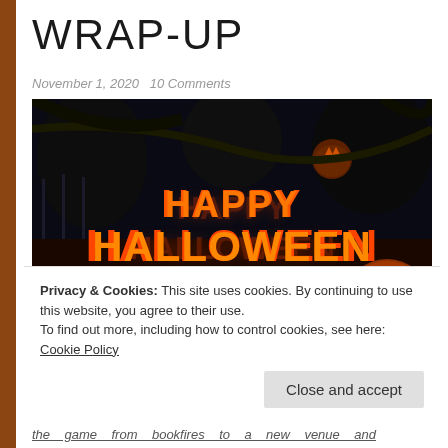WRAP-UP
November 1, 2020   10 Comments
[Figure (photo): Dark Halloween scene with jack-o-lanterns and glowing 'Happy Halloween' text in fiery orange]
Privacy & Cookies: This site uses cookies. By continuing to use this website, you agree to their use.
To find out more, including how to control cookies, see here: Cookie Policy
Close and accept
the game from bookfires to a new venue and